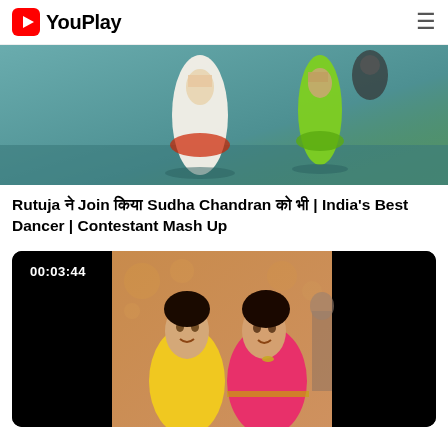YouPlay
[Figure (photo): Dance performance screenshot showing women in colorful traditional Indian attire (white/red lehenga and green saree) on a stage with teal background]
Rutuja ने Join किया Sudha Chandran को भी | India's Best Dancer | Contestant Mash Up
[Figure (photo): Video thumbnail showing two women smiling together — one in yellow salwar suit and one in pink saree with gold jewelry — at a decorated event. Duration shows 00:03:44.]